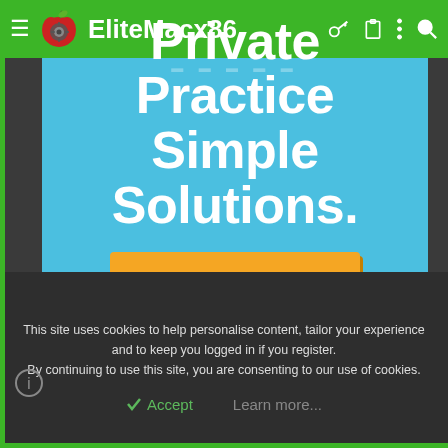EliteMacx86
[Figure (screenshot): Website hero section with blue background showing 'Private Practice Simple Solutions.' in large white bold text and an orange 'Learn More' button below]
This site uses cookies to help personalise content, tailor your experience and to keep you logged in if you register. By continuing to use this site, you are consenting to our use of cookies.
Accept   Learn more...